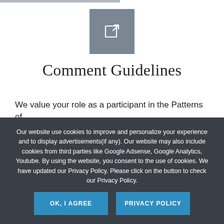[Figure (logo): Gray square icon with a pencil/edit symbol (arrow pointing into a box corner), representing comment/editing functionality]
Comment Guidelines
We value your role as a participant in the Patterns of
Our website use cookies to improve and personalize your experience and to display advertisements(if any). Our website may also include cookies from third parties like Google Adsense, Google Analytics, Youtube. By using the website, you consent to the use of cookies. We have updated our Privacy Policy. Please click on the button to check our Privacy Policy.
OK, I AGREE
PRIVACY POLICY